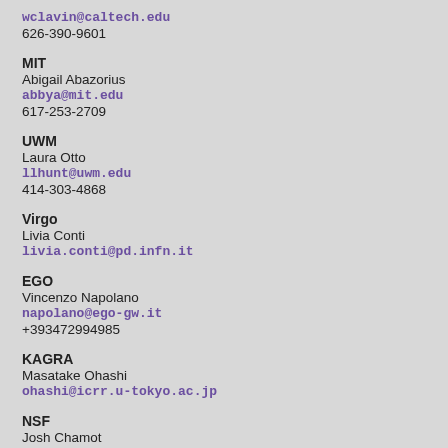wclavin@caltech.edu
626-390-9601
MIT
Abigail Abazorius
abbya@mit.edu
617-253-2709
UWM
Laura Otto
llhunt@uwm.edu
414-303-4868
Virgo
Livia Conti
livia.conti@pd.infn.it
EGO
Vincenzo Napolano
napolano@ego-gw.it
+393472994985
KAGRA
Masatake Ohashi
ohashi@icrr.u-tokyo.ac.jp
NSF
Josh Chamot
jchamot@nsf.gov
703-292-4489